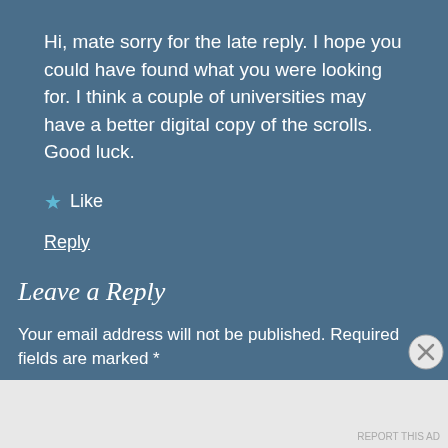Hi, mate sorry for the late reply. I hope you could have found what you were looking for. I think a couple of universities may have a better digital copy of the scrolls. Good luck.
★ Like
Reply
Leave a Reply
Your email address will not be published. Required fields are marked *
Advertise Info